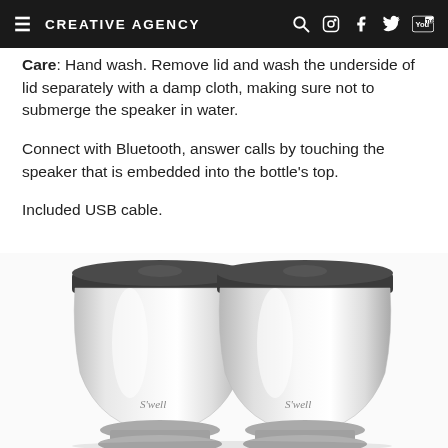CREATIVE AGENCY
Care: Hand wash. Remove lid and wash the underside of lid separately with a damp cloth, making sure not to submerge the speaker in water.
Connect with Bluetooth, answer calls by touching the speaker that is embedded into the bottle's top.
Included USB cable.
[Figure (photo): Two S'well branded stainless steel food bowls/containers with dark lids, shown side by side from a slightly elevated angle on a white background.]